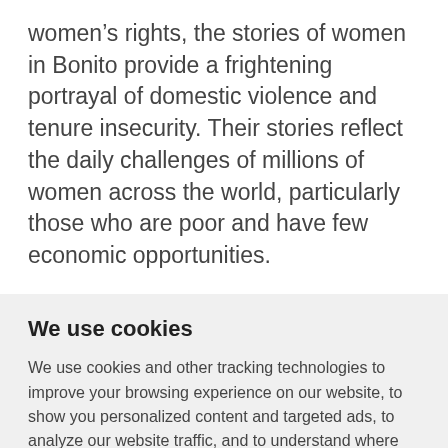women’s rights, the stories of women in Bonito provide a frightening portrayal of domestic violence and tenure insecurity. Their stories reflect the daily challenges of millions of women across the world, particularly those who are poor and have few economic opportunities.
We use cookies
We use cookies and other tracking technologies to improve your browsing experience on our website, to show you personalized content and targeted ads, to analyze our website traffic, and to understand where our visitors are coming from.